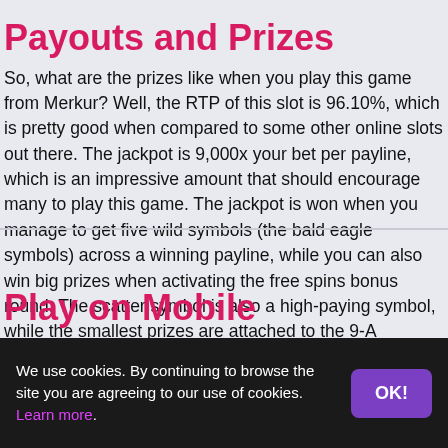Payouts and Prizes
So, what are the prizes like when you play this game from Merkur? Well, the RTP of this slot is 96.10%, which is pretty good when compared to some other online slots out there. The jackpot is 9,000x your bet per payline, which is an impressive amount that should encourage many to play this game. The jackpot is won when you manage to get five wild symbols (the bald eagle symbols) across a winning payline, while you can also win big prizes when activating the free spins bonus round. The scatter symbol is also a high-paying symbol, while the smallest prizes are attached to the 9-A symbols.
Play on Mobile
We use cookies. By continuing to browse the site you are agreeing to our use of cookies. Learn more.